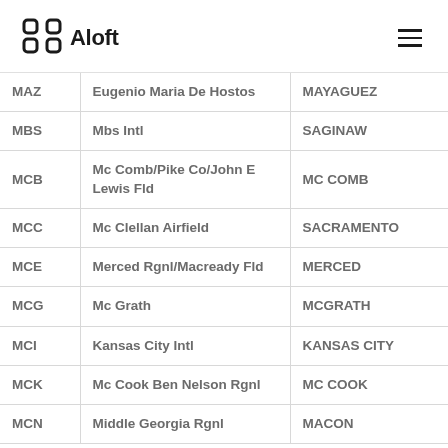Aloft
| Code | Airport Name | City |
| --- | --- | --- |
| MAZ | Eugenio Maria De Hostos | MAYAGUEZ |
| MBS | Mbs Intl | SAGINAW |
| MCB | Mc Comb/Pike Co/John E Lewis Fld | MC COMB |
| MCC | Mc Clellan Airfield | SACRAMENTO |
| MCE | Merced Rgnl/Macready Fld | MERCED |
| MCG | Mc Grath | MCGRATH |
| MCI | Kansas City Intl | KANSAS CITY |
| MCK | Mc Cook Ben Nelson Rgnl | MC COOK |
| MCN | Middle Georgia Rgnl | MACON |